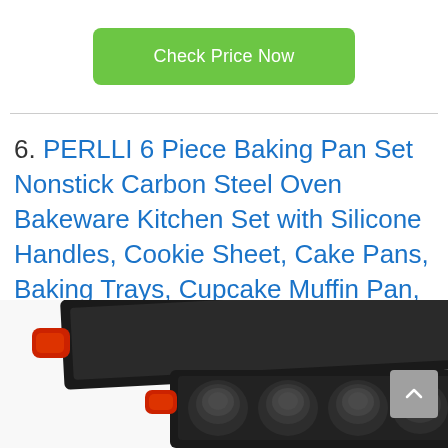Check Price Now
6. PERLLI 6 Piece Baking Pan Set Nonstick Carbon Steel Oven Bakeware Kitchen Set with Silicone Handles, Cookie Sheet, Cake Pans, Baking Trays, Cupcake Muffin Pan, 9×13 Roasting Pan, Loaf Pan Essentials
[Figure (photo): Photo of a PERLLI 6 piece baking pan set showing a large flat baking tray and a muffin/cupcake pan with circular cups, with red silicone handles visible]